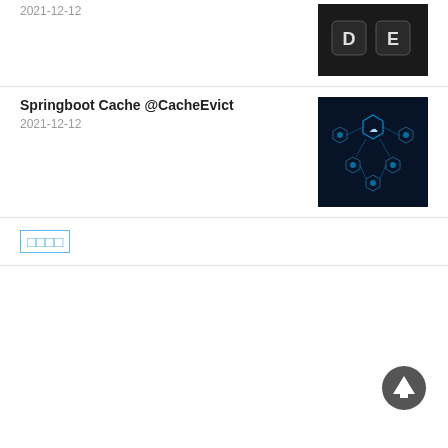2021-12-12
[Figure (photo): Two dark keyboard keys with letters D and E]
Springboot Cache @CacheEvict
2021-12-12
[Figure (photo): Dark blue cloud/network technology illustration with hexagonal icons]
□□□□